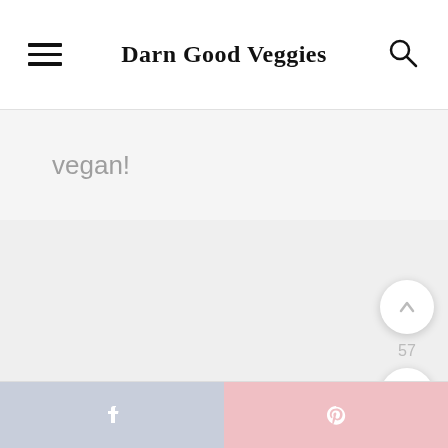Darn Good Veggies
vegan!
[Figure (screenshot): Website screenshot of Darn Good Veggies showing navigation header with hamburger menu, site title, and search icon. Below is a search bar area with 'vegan!' placeholder text. Main content area is light gray. Floating action buttons on right: scroll-up arrow button, count '57', heart/save button, and green search button. Bottom share bar with Facebook (blue-gray) and Pinterest (pink) buttons.]